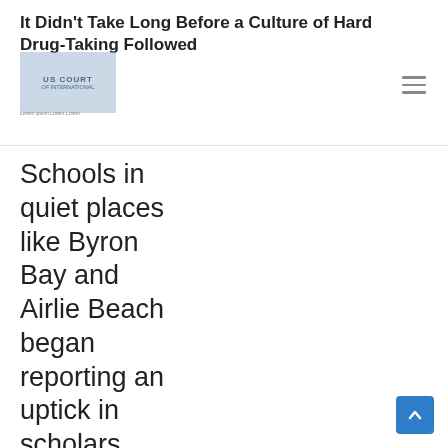It Didn't Take Long Before a Culture of Hard Drug-Taking Followed
[Figure (logo): Partially visible court or legal institution logo with blue-grey tones and text overlay]
Schools in quiet places like Byron Bay and Airlie Beach began reporting an uptick in scholars plating truant, and smoking marijuana during breaks. There was an increase in playground fights too. However, after our Central Coast undercover agent infiltrated we were able to identify the